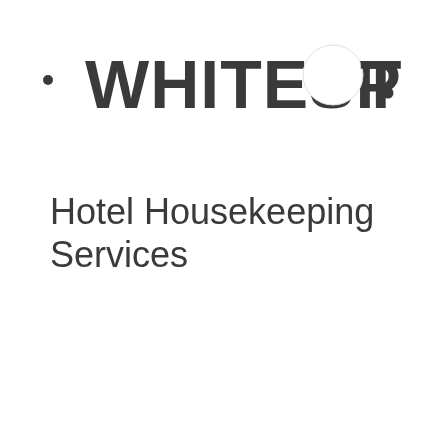[Figure (logo): WHITESPOT logo with bold dark gray text and a white circle replacing the letter O in SPOT, with two small dark bullet points flanking the text]
Hotel Housekeeping Services